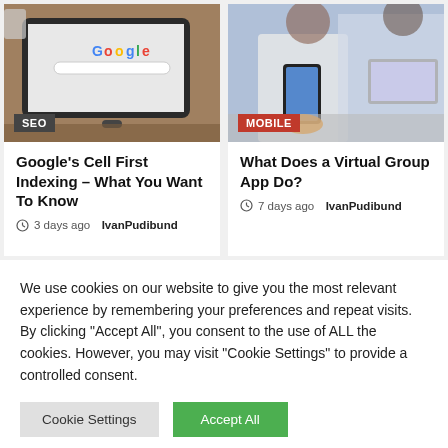[Figure (photo): Tablet showing Google search page on a wooden desk]
[Figure (photo): People at a meeting table, one holding a smartphone]
Google's Cell First Indexing – What You Want To Know
3 days ago  IvanPudibund
What Does a Virtual Group App Do?
7 days ago  IvanPudibund
We use cookies on our website to give you the most relevant experience by remembering your preferences and repeat visits. By clicking "Accept All", you consent to the use of ALL the cookies. However, you may visit "Cookie Settings" to provide a controlled consent.
Cookie Settings
Accept All